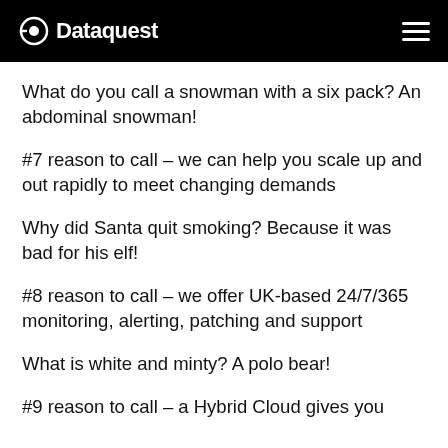Dataquest
What do you call a snowman with a six pack? An abdominal snowman!
#7 reason to call – we can help you scale up and out rapidly to meet changing demands
Why did Santa quit smoking? Because it was bad for his elf!
#8 reason to call – we offer UK-based 24/7/365 monitoring, alerting, patching and support
What is white and minty? A polo bear!
#9 reason to call – a Hybrid Cloud gives you